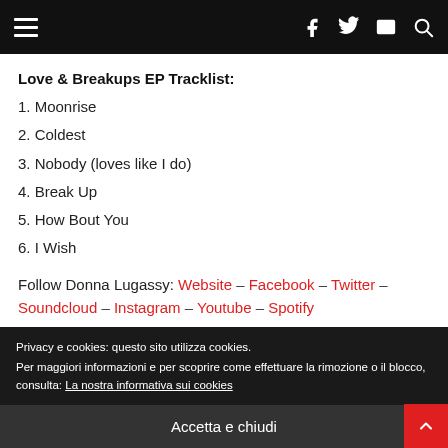Navigation bar with hamburger menu and social icons (Facebook, Twitter, Email, Search)
Love & Breakups EP Tracklist:
1. Moonrise
2. Coldest
3. Nobody (loves like I do)
4. Break Up
5. How Bout You
6. I Wish
Follow Donna Lugassy: Website – Facebook – Twitter – Soundcloud – Instagram – Youtube – Spotify
Privacy e cookies: questo sito utilizza cookies.
Per maggiori informazioni e per scoprire come effettuare la rimozione o il blocco, consulta: La nostra informativa sui cookies
Accetta e chiudi